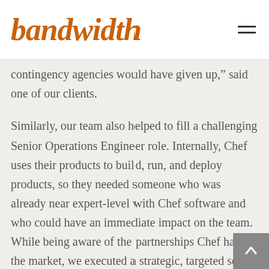bandwidth
contingency agencies would have given up,” said one of our clients.
Similarly, our team also helped to fill a challenging Senior Operations Engineer role. Internally, Chef uses their products to build, run, and deploy products, so they needed someone who was already near expert-level with Chef software and who could have an immediate impact on the team. While being aware of the partnerships Chef has in the market, we executed a strategic, targeted search to identify candidates who could bring immediate value to the role. By partnering with Chef on such challenging roles, we were able to